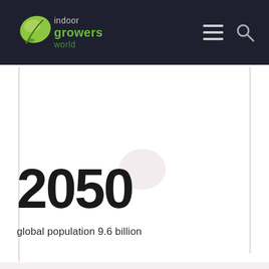indoor growers world
2050
global population 9.6 billion